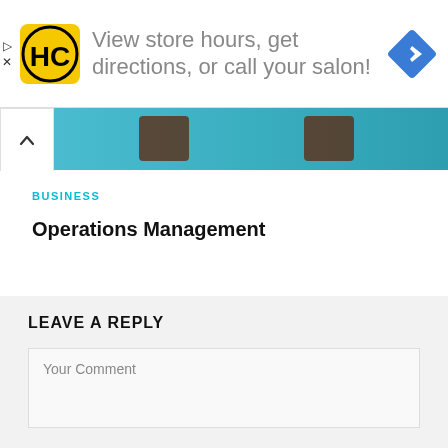[Figure (screenshot): Advertisement banner: HC logo on yellow/black square, text 'View store hours, get directions, or call your salon!', blue navigation diamond icon on right. Play and X icons on left edge.]
[Figure (photo): Teal/blue header image strip with blurred brown bowtie shapes, with a white chevron-up tab on the left.]
BUSINESS
Operations Management
LEAVE A REPLY
Your Comment